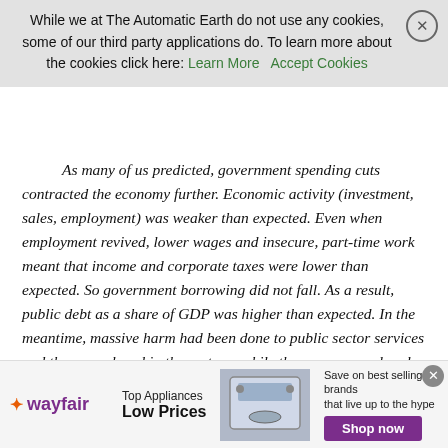While we at The Automatic Earth do not use any cookies, some of our third party applications do. To learn more about the cookies click here: Learn More   Accept Cookies
As many of us predicted, government spending cuts contracted the economy further. Economic activity (investment, sales, employment) was weaker than expected. Even when employment revived, lower wages and insecure, part-time work meant that income and corporate taxes were lower than expected. So government borrowing did not fall. As a result, public debt as a share of GDP was higher than expected. In the meantime, massive harm had been done to public sector services and those employed in the sector – while the economy endured the slowest post-crisis recovery in history. And it was women who largely paid the price.
One woman can be said to have given the phrase “there is no money” much credibility. In her 1983 speech to the Conservative party conference, Margaret Thatcher declared that: “The state has no source of money, other than the money people earn themselves. If th…
[Figure (other): Wayfair advertisement banner: Top Appliances Low Prices, with appliance image and Shop now button in purple]